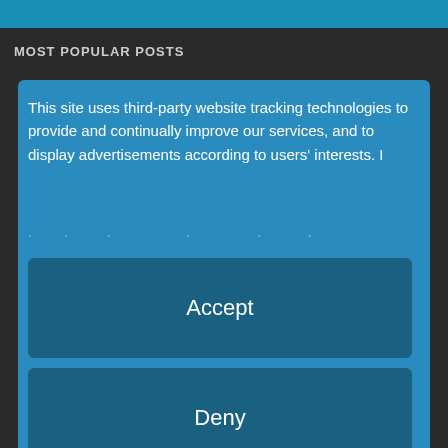MOST POPULAR POSTS
This site uses third-party website tracking technologies to provide and continually improve our services, and to display advertisements according to users' interests. I
Accept
Deny
more
Powered by usercentrics & eRecht24
w Field of Bioortnogonal Chemistry Owes a... (115)
EDITOR'S CHOICE